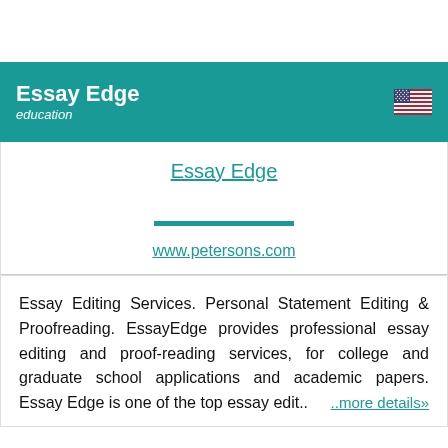Essay Edge education
Essay Edge
www.petersons.com
Essay Editing Services. Personal Statement Editing & Proofreading. EssayEdge provides professional essay editing and proof-reading services, for college and graduate school applications and academic papers. Essay Edge is one of the top essay edit.. ..more details»